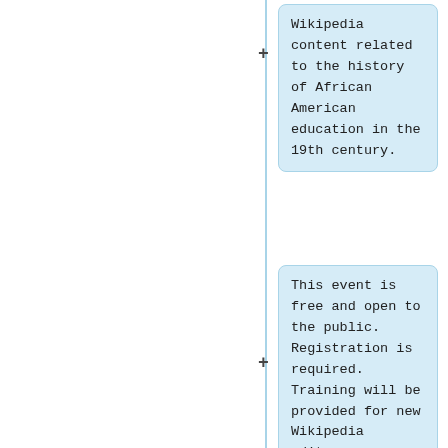Wikipedia content related to the history of African American education in the 19th century.
This event is free and open to the public. Registration is required. Training will be provided for new Wikipedia editors.
Presented remotely by Charles Sumner School Museum and Archive and Wikimedia DC.
|info-link = https://en.wikipedia.org/wiki/Wikipedia:Meetup/DC/History_of_19...